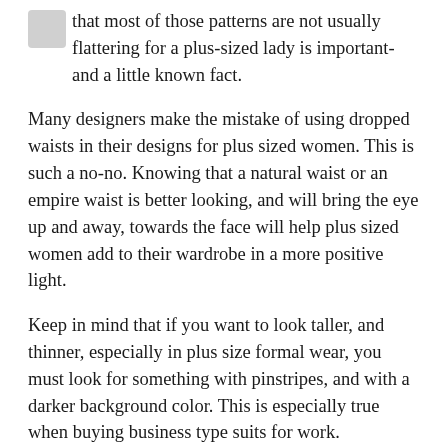pretty patterns to use for plus size women. Knowing that most of those patterns are not usually flattering for a plus-sized lady is important-and a little known fact.
Many designers make the mistake of using dropped waists in their designs for plus sized women. This is such a no-no. Knowing that a natural waist or an empire waist is better looking, and will bring the eye up and away, towards the face will help plus sized women add to their wardrobe in a more positive light.
Keep in mind that if you want to look taller, and thinner, especially in plus size formal wear, you must look for something with pinstripes, and with a darker background color. This is especially true when buying business type suits for work.
Having been a plus sized woman myself, trying to find clothes that fit was next to impossible. That meant resorting to making them, or paying someone to do